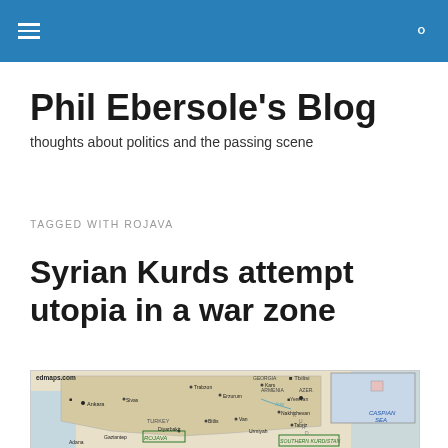Phil Ebersole's Blog — navigation header
Phil Ebersole's Blog
thoughts about politics and the passing scene
TAGGED WITH ROJAVA
Syrian Kurds attempt utopia in a war zone
[Figure (map): Map showing Turkey, Armenia, Azerbaijan, part of Caspian Sea, with labels for cities: Ankara, Sivas, Trabzon, Erzurum, Kars, Diyarbakir, Gaziantep, Adana, Bitlis, Van, Tbilisi, Yerevan, Nakhichevan, Tabriz, Urmiyah; regions: TURKEY, GEORGIA, ARMENIA, AZER., ROJAVA, SOUTHERN KURDISTAN, CASPIAN SEA; source: edmaps.com]